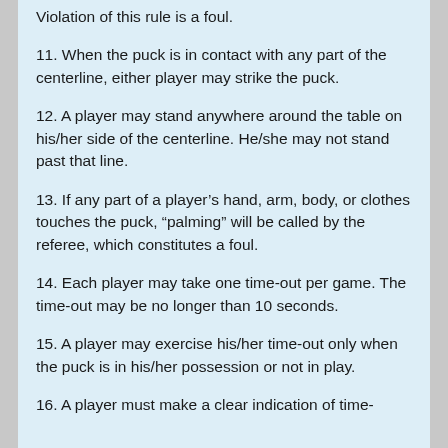Violation of this rule is a foul.
11. When the puck is in contact with any part of the centerline, either player may strike the puck.
12. A player may stand anywhere around the table on his/her side of the centerline. He/she may not stand past that line.
13. If any part of a player’s hand, arm, body, or clothes touches the puck, “palming” will be called by the referee, which constitutes a foul.
14. Each player may take one time-out per game. The time-out may be no longer than 10 seconds.
15. A player may exercise his/her time-out only when the puck is in his/her possession or not in play.
16. A player must make a clear indication of time-